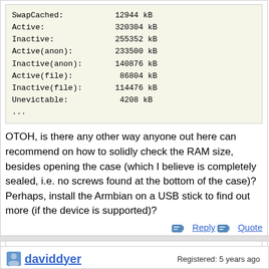SwapCached: 12944 kB
Active: 320304 kB
Inactive: 255352 kB
Active(anon): 233500 kB
Inactive(anon): 140876 kB
Active(file): 86804 kB
Inactive(file): 114476 kB
Unevictable: 4208 kB
...
OTOH, is there any other way anyone out here can recommend on how to solidly check the RAM size, besides opening the case (which I believe is completely sealed, i.e. no screws found at the bottom of the case)? Perhaps, install the Armbian on a USB stick to find out more (if the device is supported)?
Reply   Quote
Attachments:
open | download - signal-2021-12-14-123700_001.jpeg (425.3 KB)
daviddyer
Registered: 5 years ago